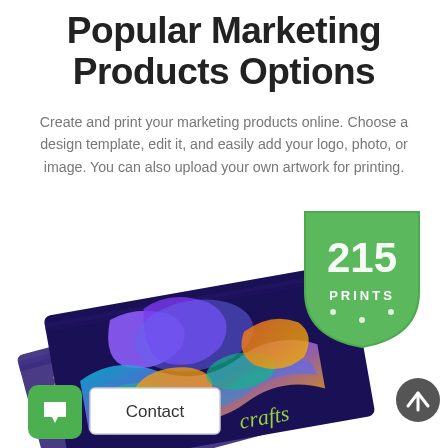Popular Marketing Products Options
Create and print your marketing products online. Choose a design template, edit it, and easily add your logo, photo, or image. You can also upload your own artwork for printing.
[Figure (photo): Stack of colorful business cards with abstract designs, a green shield-shaped logo badge for '215 Prints', a green chat icon, a Contact button, and a dark scroll-up arrow button]